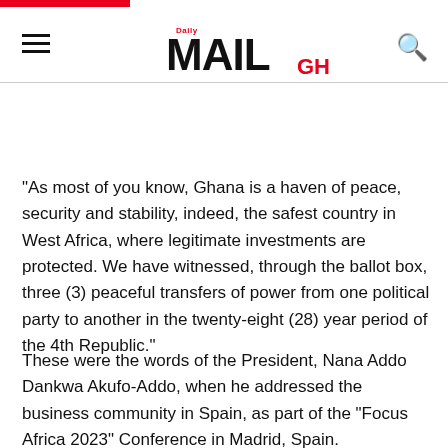Daily MAIL GH
“As most of you know, Ghana is a haven of peace, security and stability, indeed, the safest country in West Africa, where legitimate investments are protected. We have witnessed, through the ballot box, three (3) peaceful transfers of power from one political party to another in the twenty-eight (28) year period of the 4th Republic.”
These were the words of the President, Nana Addo Dankwa Akufo-Addo, when he addressed the business community in Spain, as part of the “Focus Africa 2023” Conference in Madrid, Spain.